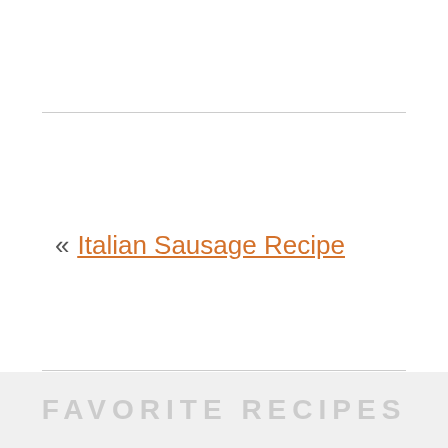« Italian Sausage Recipe
Swedish Meatballs Recipe »
FAVORITE RECIPES